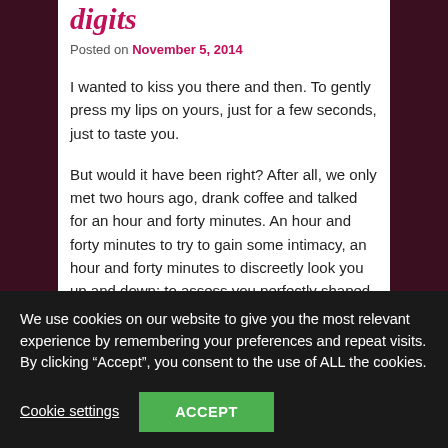digits
Posted on November 5, 2014
I wanted to kiss you there and then. To gently press my lips on yours, just for a few seconds, just to taste you.
But would it have been right? After all, we only met two hours ago, drank coffee and talked for an hour and forty minutes. An hour and forty minutes to try to gain some intimacy, an hour and forty minutes to discreetly look you up and down; to assess you perfectly shaped rear; to imagine the rest of you under your shirt; to admire your
We use cookies on our website to give you the most relevant experience by remembering your preferences and repeat visits. By clicking “Accept”, you consent to the use of ALL the cookies.
Cookie settings
ACCEPT